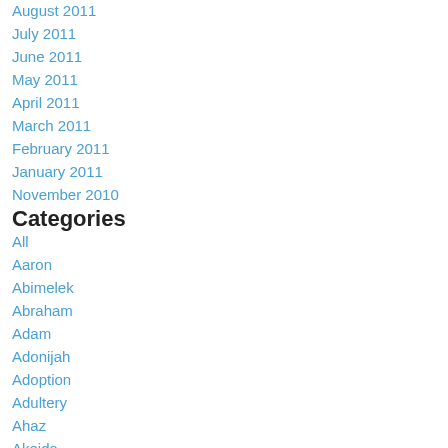August 2011
July 2011
June 2011
May 2011
April 2011
March 2011
February 2011
January 2011
November 2010
Categories
All
Aaron
Abimelek
Abraham
Adam
Adonijah
Adoption
Adultery
Ahaz
Akeida